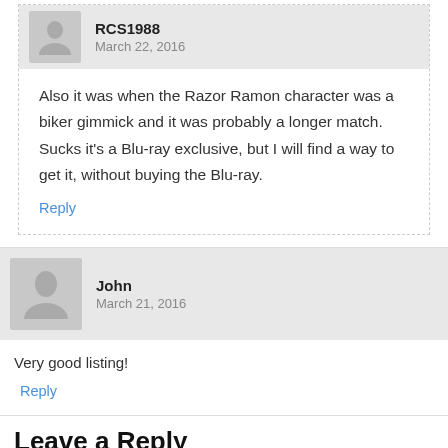RCS1988
March 22, 2016
Also it was when the Razor Ramon character was a biker gimmick and it was probably a longer match. Sucks it's a Blu-ray exclusive, but I will find a way to get it, without buying the Blu-ray.
Reply
John
March 21, 2016
Very good listing!
Reply
Leave a Reply